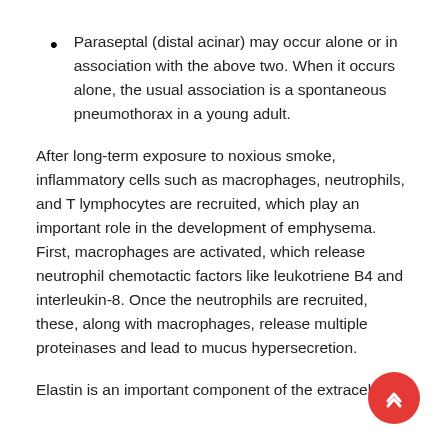Paraseptal (distal acinar) may occur alone or in association with the above two. When it occurs alone, the usual association is a spontaneous pneumothorax in a young adult.
After long-term exposure to noxious smoke, inflammatory cells such as macrophages, neutrophils, and T lymphocytes are recruited, which play an important role in the development of emphysema. First, macrophages are activated, which release neutrophil chemotactic factors like leukotriene B4 and interleukin-8. Once the neutrophils are recruited, these, along with macrophages, release multiple proteinases and lead to mucus hypersecretion.
Elastin is an important component of the extracellular